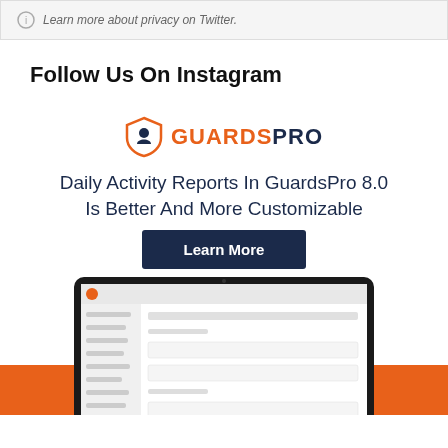Learn more about privacy on Twitter.
Follow Us On Instagram
[Figure (logo): GuardsPro shield logo with guard icon, orange GUARDS and dark blue PRO text]
Daily Activity Reports In GuardsPro 8.0 Is Better And More Customizable
Learn More
[Figure (screenshot): Laptop showing GuardsPro 8.0 daily activity reports interface, with hands typing on keyboard, on orange background strip]